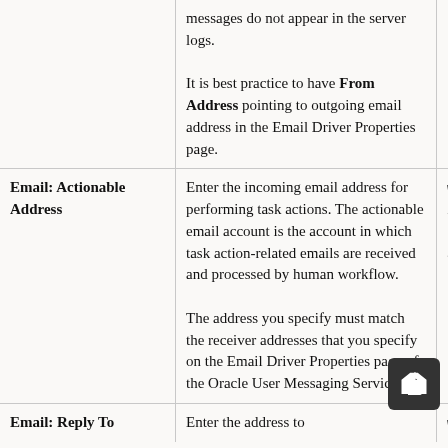| Field | Description | Example |
| --- | --- | --- |
|  | messages do not appear in the server logs.

It is best practice to have From Address pointing to outgoing email address in the Email Driver Properties page. |  |
| Email: Actionable Address | Enter the incoming email address for performing task actions. The actionable email account is the account in which task action-related emails are received and processed by human workflow.

The address you specify must match the receiver addresses that you specify on the Email Driver Properties page of the Oracle User Messaging Service. | workfl...ctions...ompany... |
| Email: Reply To | Enter the address to | workfi... |